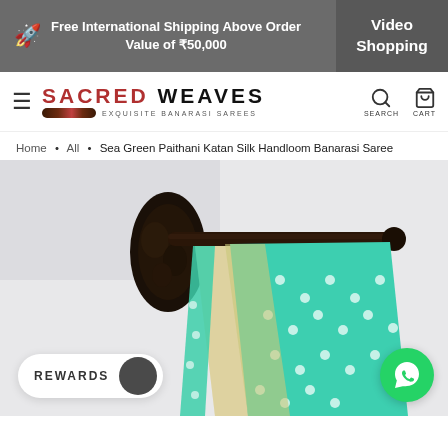Free International Shipping Above Order Value of ₹50,000 | Video Shopping
[Figure (logo): Sacred Weaves logo with text SACRED WEAVES and EXQUISITE BANARASI SAREES, hamburger menu, search and cart icons]
Home • All • Sea Green Paithani Katan Silk Handloom Banarasi Saree
[Figure (photo): Sea green Paithani Katan Silk Handloom Banarasi Saree draped over a dark carved wooden stand against a light grey background. The saree shows sea green fabric with polka dot pattern and an embroidered border with floral motifs.]